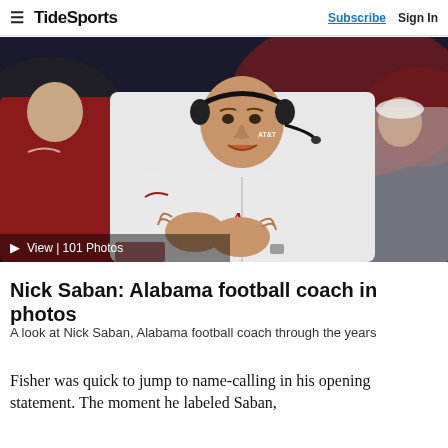TideSports  Subscribe  Sign In
[Figure (photo): Nick Saban, Alabama football head coach wearing a white Alabama jacket and AT&T branded headset, clapping on the sideline during a game]
View | 101 Photos
Nick Saban: Alabama football coach in photos
A look at Nick Saban, Alabama football coach through the years
Fisher was quick to jump to name-calling in his opening statement. The moment he labeled Saban,